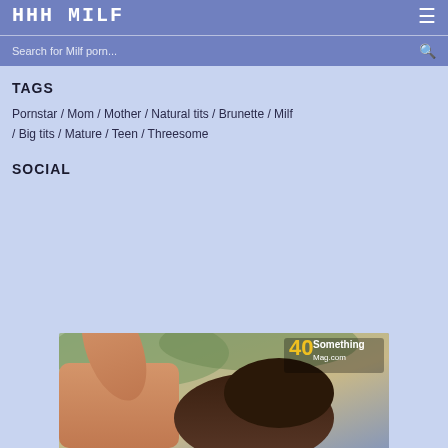HHH MILF
Search for Milf porn...
TAGS
Pornstar / Mom / Mother / Natural tits / Brunette / Milf / Big tits / Mature / Teen / Threesome
SOCIAL
[Figure (photo): Partial photo of a person with dark hair raising arm, with 40Something Mag watermark in yellow and white text]